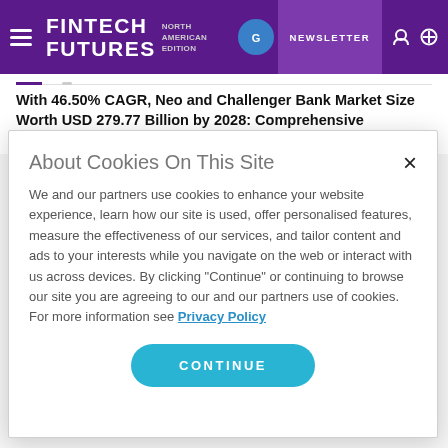FINTECH FUTURES NORTH AMERICAN EDITION | NEWSLETTER
With 46.50% CAGR, Neo and Challenger Bank Market Size Worth USD 279.77 Billion by 2028: Comprehensive Research Report by Facts & Factors
About Cookies On This Site
We and our partners use cookies to enhance your website experience, learn how our site is used, offer personalised features, measure the effectiveness of our services, and tailor content and ads to your interests while you navigate on the web or interact with us across devices. By clicking "Continue" or continuing to browse our site you are agreeing to our and our partners use of cookies. For more information see Privacy Policy
CONTINUE